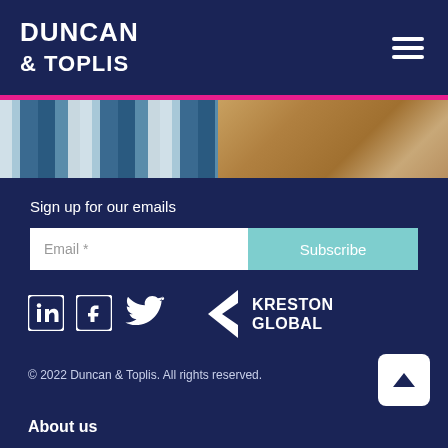[Figure (logo): Duncan & Toplis logo in white bold uppercase text on dark navy background]
[Figure (photo): A strip photo showing colorful fabric and towels — blue/white textiles on the left, tan/brown leather or fabric on the right]
Sign up for our emails
[Figure (other): Email input field with 'Email *' placeholder on left, and teal 'Subscribe' button on right]
[Figure (logo): LinkedIn, Facebook, and Twitter social media icons in white, followed by Kreston Global logo with chevron mark]
© 2022 Duncan & Toplis. All rights reserved.
About us